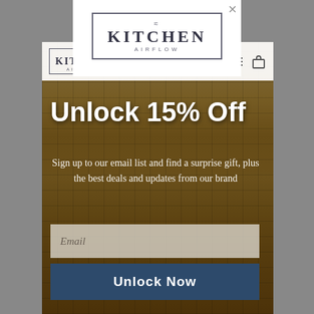[Figure (screenshot): Kitchen Airflow website screenshot showing a promotional modal popup with 'Unlock 15% Off' offer overlaid on a kitchen backsplash tile background. The modal has the Kitchen Airflow logo, promotional text, an email input field, and an 'Unlock Now' button. Behind the modal is the website navigation bar with a smaller Kitchen Airflow logo and icons.]
Unlock 15% Off
Sign up to our email list and find a surprise gift, plus the best deals and updates from our brand
Email
Unlock Now